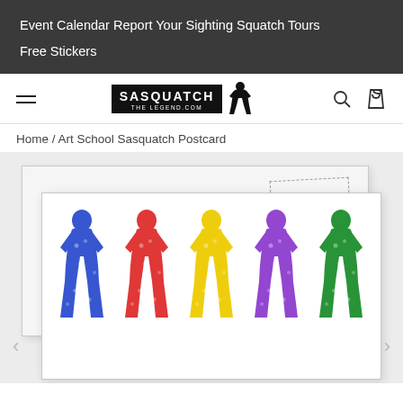Event Calendar   Report Your Sighting   Squatch Tours   Free Stickers
[Figure (logo): Sasquatch The Legend.com logo with bigfoot silhouette, search icon, and shopping bag icon]
Home / Art School Sasquatch Postcard
[Figure (photo): Art School Sasquatch Postcard product image showing a postcard with five colorful Sasquatch/Bigfoot silhouettes in blue, red, yellow, purple, and green walking in a row on white background. A second postcard back is visible behind with a 'Place Stamp Here' box.]